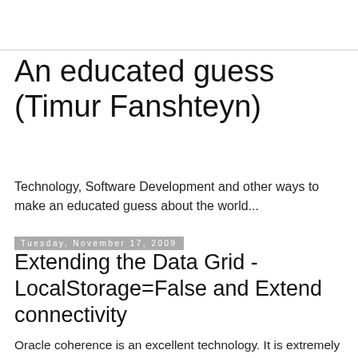An educated guess (Timur Fanshteyn)
Technology, Software Development and other ways to make an educated guess about the world...
Tuesday, November 17, 2009
Extending the Data Grid - LocalStorage=False and Extend connectivity
Oracle coherence is an excellent technology. It is extremely powerful in distributing data and processing across multiple physical and virtual servers. This functionality is extremely